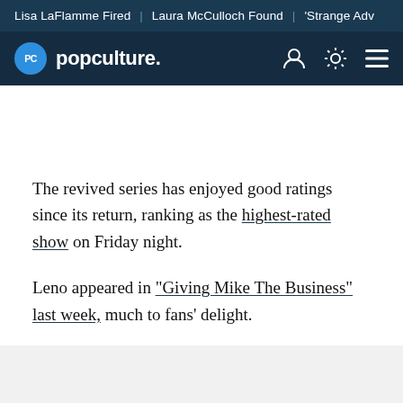Lisa LaFlamme Fired | Laura McCulloch Found | 'Strange Adv
PC popculture.
The revived series has enjoyed good ratings since its return, ranking as the highest-rated show on Friday night.
Leno appeared in "Giving Mike The Business" last week, much to fans' delight.